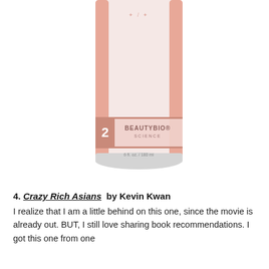[Figure (photo): A white and rose gold skincare tube product labeled 'BeautyBio Science', step 2, 6 fl. oz. / 180 ml, on a white background.]
4. Crazy Rich Asians  by Kevin Kwan
I realize that I am a little behind on this one, since the movie is already out. BUT, I still love sharing book recommendations. I got this one from one